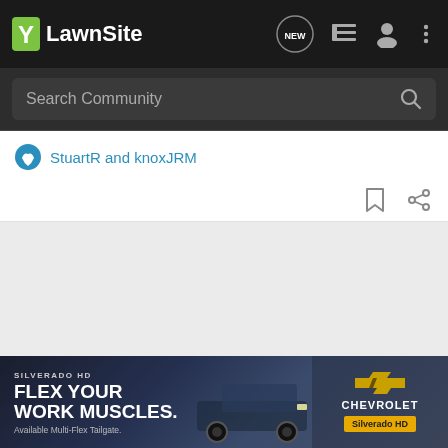LawnSite
Search Community
StuartR and knoxJRM
[Figure (screenshot): Chevrolet Silverado HD advertisement banner with text: SILVERADO HD, FLEX YOUR WORK MUSCLES., Available Multi-Flex Tailgate. Chevrolet Silverado HD logo on right side.]